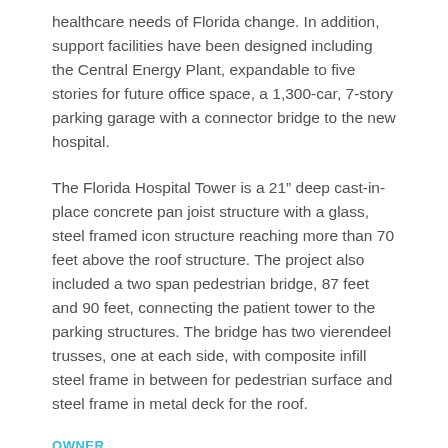healthcare needs of Florida change. In addition, support facilities have been designed including the Central Energy Plant, expandable to five stories for future office space, a 1,300-car, 7-story parking garage with a connector bridge to the new hospital.
The Florida Hospital Tower is a 21" deep cast-in-place concrete pan joist structure with a glass, steel framed icon structure reaching more than 70 feet above the roof structure. The project also included a two span pedestrian bridge, 87 feet and 90 feet, connecting the patient tower to the parking structures. The bridge has two vierendeel trusses, one at each side, with composite infill steel frame in between for pedestrian surface and steel frame in metal deck for the roof.
OWNER
Florida Hospital